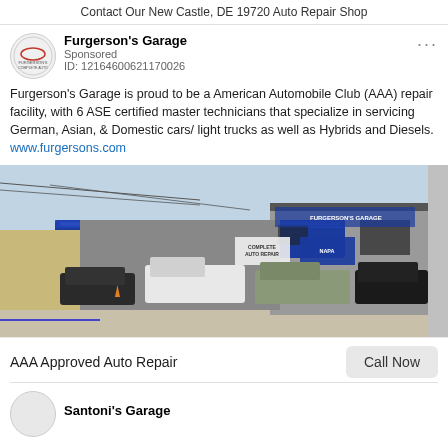Contact Our New Castle, DE 19720 Auto Repair Shop
Furgerson's Garage
Sponsored
ID: 12164600621170026
Furgerson's Garage is proud to be a American Automobile Club (AAA) repair facility, with 6 ASE certified master technicians that specialize in servicing German, Asian, & Domestic cars/ light trucks as well as Hybrids and Diesels. www.furgersons.com
[Figure (photo): Exterior photo of Furgerson's Garage auto repair shop building with blue awning/canopy, multiple vehicles parked in front including trucks and SUVs, signage on building reading 'Furgerson's Garage']
AAA Approved Auto Repair
Call Now
Santoni's Garage